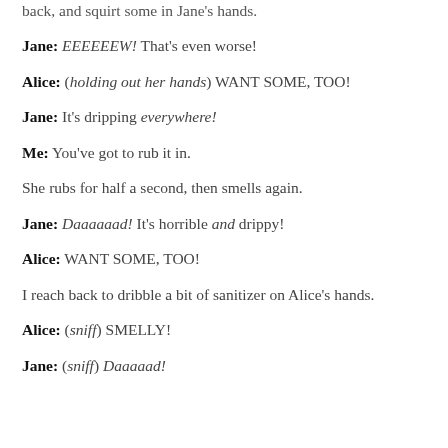back, and squirt some in Jane's hands.
Jane: EEEEEEW! That's even worse!
Alice: (holding out her hands) WANT SOME, TOO!
Jane: It's dripping everywhere!
Me: You've got to rub it in.
She rubs for half a second, then smells again.
Jane: Daaaaaad! It's horrible and drippy!
Alice: WANT SOME, TOO!
I reach back to dribble a bit of sanitizer on Alice's hands.
Alice: (sniff) SMELLY!
Jane: (sniff) Daaaaad!